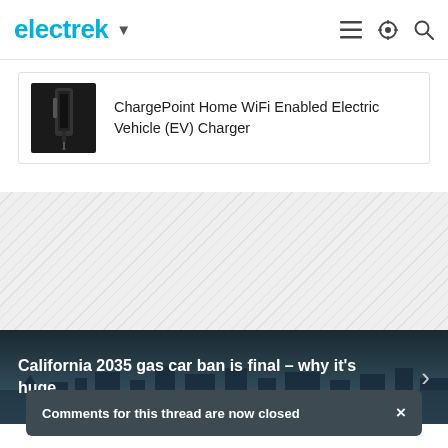electrek
ChargePoint Home WiFi Enabled Electric Vehicle (EV) Charger
[Figure (other): Hatched ad placeholder area]
California 2035 gas car ban is final – why it's huge
Comments for this thread are now closed